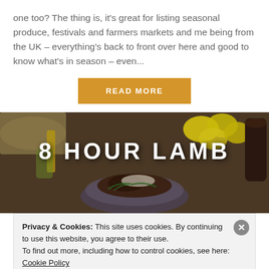one too? The thing is, it’s great for listing seasonal produce, festivals and farmers markets and me being from the UK – everything’s back to front over here and good to know what’s in season – even...
READ MORE
[Figure (photo): Food photo showing a bowl of slow-cooked lamb with herbs and garnish, lemons and a pepper mill in the background, with overlay text '8 HOUR LAMB']
Privacy & Cookies: This site uses cookies. By continuing to use this website, you agree to their use. To find out more, including how to control cookies, see here: Cookie Policy
Close and accept